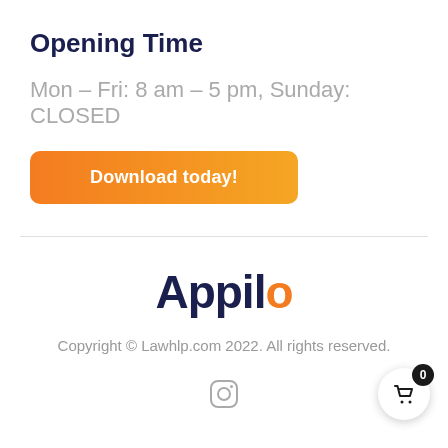Opening Time
Mon - Fri: 8 am - 5 pm, Sunday: CLOSED
[Figure (other): Orange download button with text 'Download today!']
[Figure (logo): Appilo logo with 'Appil' in dark navy and 'o' in orange]
Copyright © Lawhlp.com 2022. All rights reserved.
[Figure (other): Instagram icon]